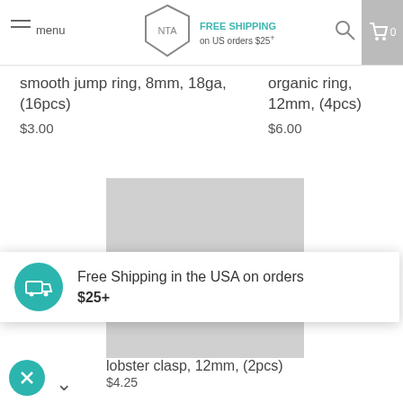menu | FREE SHIPPING on US orders $25+
smooth jump ring, 8mm, 18ga, (16pcs)
$3.00
organic ring, 12mm, (4pcs)
$6.00
[Figure (photo): Photo of two small silver lobster clasp findings on a light gray background]
Free Shipping in the USA on orders $25+
lobster clasp, 12mm, (2pcs)
$4.25